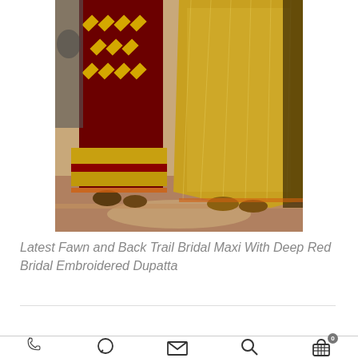[Figure (photo): Photo of models wearing traditional South Asian bridal attire — fawn/gold embroidered maxi gowns with deep red dupatta with heavy embroidery, shown from the waist down on a decorative floor]
Latest Fawn and Back Trail Bridal Maxi With Deep Red Bridal Embroidered Dupatta
Phone | WhatsApp | Email | Search | Cart (0)